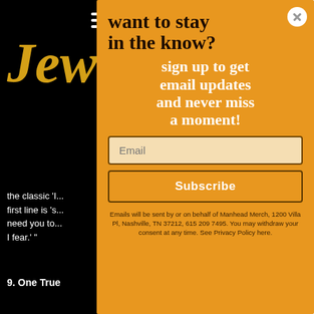[Figure (screenshot): Hamburger menu icon (three horizontal white lines) on black background]
Jew
the classic 'I... first line is 's... need you to... I fear.' "
9. One True
"This is a roo... can believe i... treatment in... building into
[Figure (screenshot): Email subscription popup with orange background. Title: 'want to stay in the know?' Subtitle: 'sign up to get email updates and never miss a moment!' with an email input field, Subscribe button, and footer note about Manhead Merch.]
want to stay in the know?
sign up to get email updates and never miss a moment!
Email
Subscribe
Emails will be sent by or on behalf of Manhead Merch, 1200 Villa Pl, Nashville, TN 37212, 615 209 7495. You may withdraw your consent at any time. See Privacy Policy here.